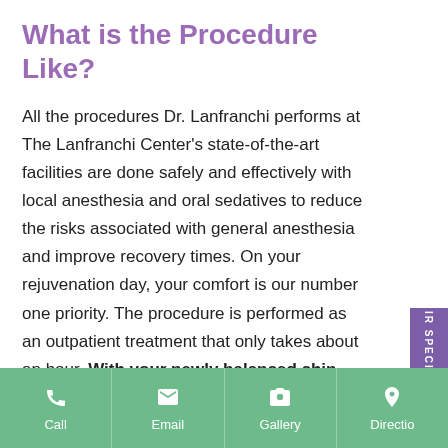What is the Procedure Like?
All the procedures Dr. Lanfranchi performs at The Lanfranchi Center's state-of-the-art facilities are done safely and effectively with local anesthesia and oral sedatives to reduce the risks associated with general anesthesia and improve recovery times. On your rejuvenation day, your comfort is our number one priority. The procedure is performed as an outpatient treatment that only takes about an hour. With your newly balanced chin, you'll see subtle but improved proportions with your whole face and neck.
What is Recovery Like?
Call | Email | Gallery | Directio...